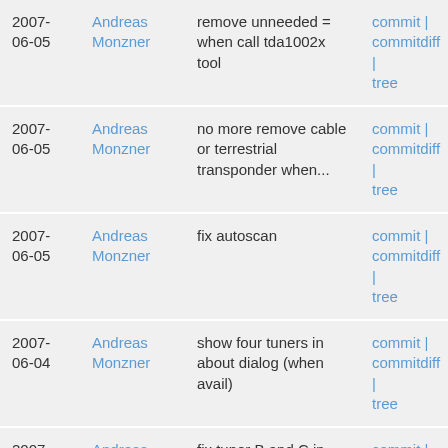| Date | Author | Message | Links |
| --- | --- | --- | --- |
| 2007-06-05 | Andreas Monzner | remove unneeded = when call tda1002x tool | commit | commitdiff | tree |
| 2007-06-05 | Andreas Monzner | no more remove cable or terrestrial transponder when... | commit | commitdiff | tree |
| 2007-06-05 | Andreas Monzner | fix autoscan | commit | commitdiff | tree |
| 2007-06-04 | Andreas Monzner | show four tuners in about dialog (when avail) | commit | commitdiff | tree |
| 2007-06-04 | Andreas Monzner | fix tuner B and C in startwizard | commit | commitdiff | tree |
| 2007-06-04 | Andreas Monzner | increase height of tuner configuration dialog | commit | commitdiff | |